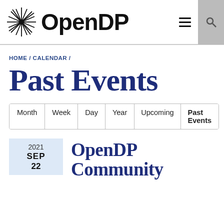OpenDP
HOME / CALENDAR /
Past Events
Month | Week | Day | Year | Upcoming | Past Events
2021 SEP 22
OpenDP Community